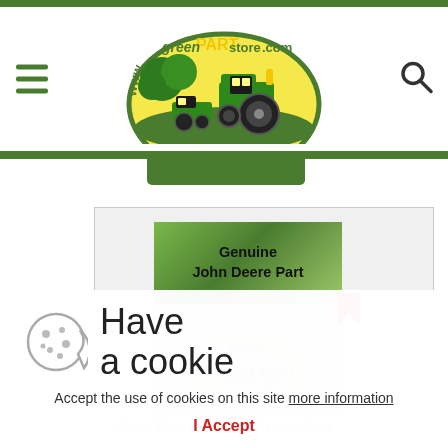www.greenPARTstore.com
[Figure (logo): Green Part Store logo with tractor and lawn mower illustration, www.greenPARTstore.com text in an arch]
[Figure (illustration): Genuine John Deere Part banner with gradient green background]
[Figure (photo): Photo Coming Soon watermark with greenPARTstore.com logo watermark]
Have a cookie
Accept the use of cookies on this site more information
I Accept
John Deere Muffler Front Heat